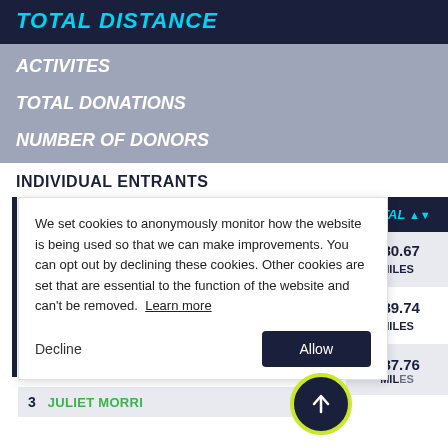TOTAL DISTANCE
ACTIVITES
TOTAL DONATIONS
NUMBER OF DONORS
INDIVIDUAL ENTRANTS
We set cookies to anonymously monitor how the website is being used so that we can make improvements. You can opt out by declining these cookies. Other cookies are set that are essential to the function of the website and can't be removed. Learn more
Decline | Allow
| TOTAL |
| --- |
| 480.67 MILES |
| 389.74 MILES |
| 387.76 MILES |
3  JULIET MORRI...